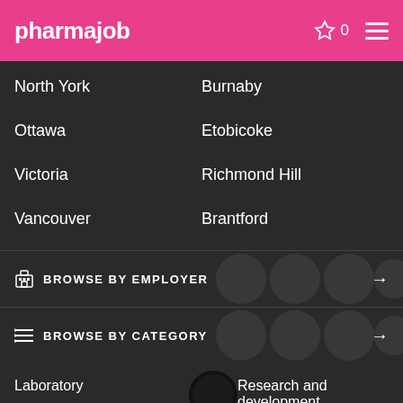pharmajob
North York
Burnaby
Ottawa
Etobicoke
Victoria
Richmond Hill
Vancouver
Brantford
BROWSE BY EMPLOYER
BROWSE BY CATEGORY
Laboratory
Research and development
Pharmacy Technician
Project management
Pharmacist
Microbiology
Chemistry
Engineering